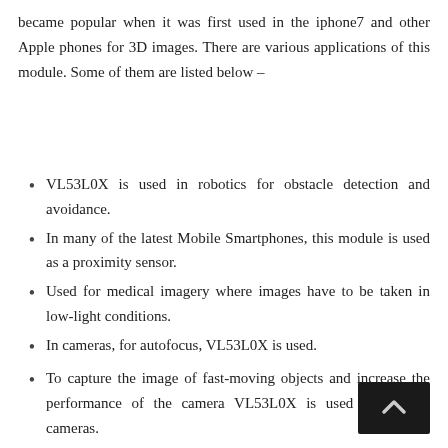became popular when it was first used in the iphone7 and other Apple phones for 3D images. There are various applications of this module. Some of them are listed below –
VL53L0X is used in robotics for obstacle detection and avoidance.
In many of the latest Mobile Smartphones, this module is used as a proximity sensor.
Used for medical imagery where images have to be taken in low-light conditions.
In cameras, for autofocus, VL53L0X is used.
To capture the image of fast-moving objects and increase the performance of the camera VL53L0X is used in modern cameras.